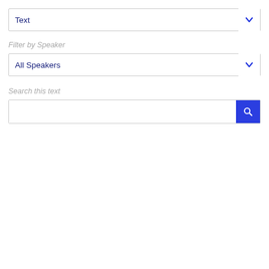[Figure (screenshot): A dropdown selector box with the label 'Text' and a blue chevron arrow on the right side.]
Filter by Speaker
[Figure (screenshot): A dropdown selector box with the label 'All Speakers' in blue text and a blue chevron arrow on the right side.]
Search this text
[Figure (screenshot): A search input field with a blue search button containing a magnifying glass icon on the right side.]